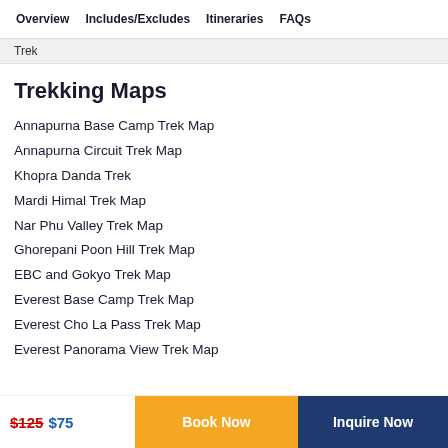Overview | Includes/Excludes | Itineraries | FAQs
Trek
Trekking Maps
Annapurna Base Camp Trek Map
Annapurna Circuit Trek Map
Khopra Danda Trek
Mardi Himal Trek Map
Nar Phu Valley Trek Map
Ghorepani Poon Hill Trek Map
EBC and Gokyo Trek Map
Everest Base Camp Trek Map
Everest Cho La Pass Trek Map
Everest Panorama View Trek Map
$125 $75 | Book Now | Inquire Now